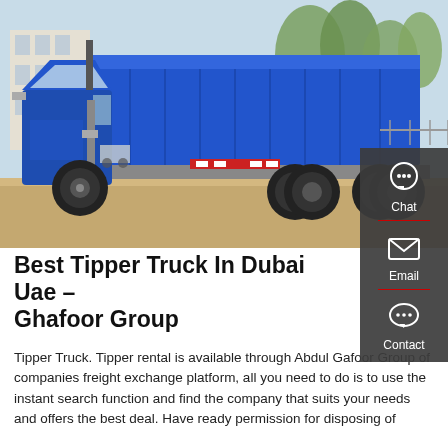[Figure (photo): A blue tipper/dump truck parked on a dirt surface, with trees and a building in the background. The truck is photographed from the side showing its large blue dump body.]
Best Tipper Truck In Dubai Uae – Ghafoor Group
Tipper Truck. Tipper rental is available through Abdul Gafoor Group of companies freight exchange platform, all you need to do is to use the instant search function and find the company that suits your needs and offers the best deal. Have ready permission for disposing of